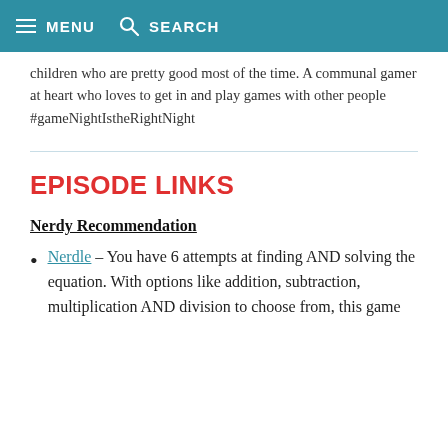MENU  SEARCH
children who are pretty good most of the time. A communal gamer at heart who loves to get in and play games with other people #gameNightIstheRightNight
EPISODE LINKS
Nerdy Recommendation
Nerdle – You have 6 attempts at finding AND solving the equation. With options like addition, subtraction, multiplication AND division to choose from, this game